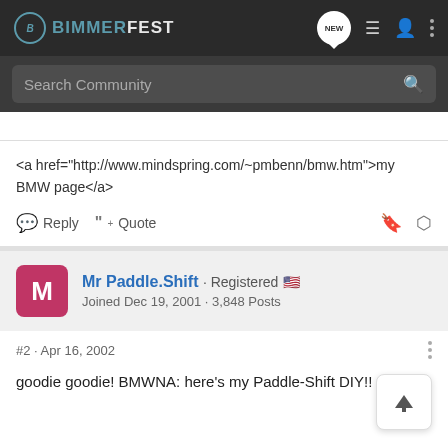[Figure (screenshot): Bimmerfest forum website navigation bar with logo, search bar, and icons]
<a href="http://www.mindspring.com/~pmbenn/bmw.htm">my BMW page</a>
Reply  Quote
Mr Paddle.Shift · Registered 🇺🇸
Joined Dec 19, 2001 · 3,848 Posts
#2 · Apr 16, 2002
goodie goodie! BMWNA: here's my Paddle-Shift DIY!!